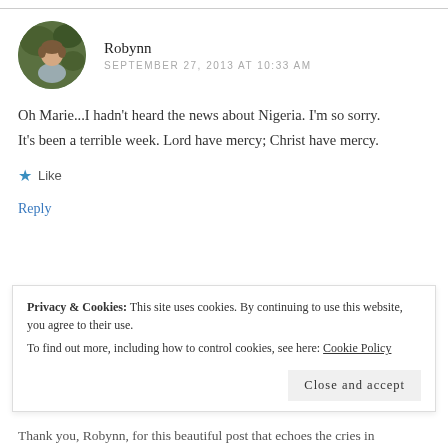[Figure (photo): Circular avatar photo of commenter Robynn, showing a person outdoors with green foliage background]
Robynn
SEPTEMBER 27, 2013 AT 10:33 AM
Oh Marie...I hadn't heard the news about Nigeria. I'm so sorry. It's been a terrible week. Lord have mercy; Christ have mercy.
Like
Reply
Privacy & Cookies: This site uses cookies. By continuing to use this website, you agree to their use.
To find out more, including how to control cookies, see here: Cookie Policy
Close and accept
Thank you, Robynn, for this beautiful post that echoes the cries in